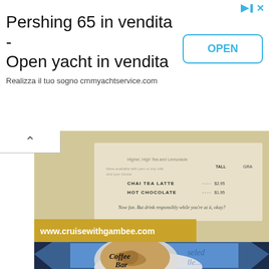[Figure (infographic): Advertisement banner for Pershing 65 yacht sale. Shows title text 'Pershing 65 in vendita - Open yacht in vendita', subtitle 'Realizza il tuo sogno cmmyachtservice.com', and an OPEN button. Has navigation arrows and close button icons.]
[Figure (photo): Photo of a cruise ship cafe/bar menu board showing items including CHAI TEA LATTE and HOT CHOCOLATE with prices. Website www.cruisewithgambee.com shown in bottom left.]
[Figure (photo): Photo of a Coffee Bar sign showing a latte art cup on a blue illuminated sign with 'Coffee Bar' text in decorative script. Partial text visible on right side.]